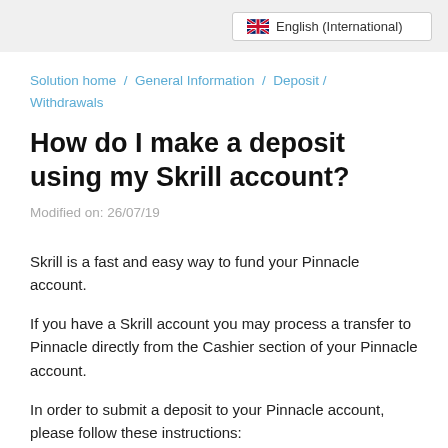🇬🇧 English (International)
Solution home / General Information / Deposit / Withdrawals
How do I make a deposit using my Skrill account?
Modified on: 26/07/19
Skrill is a fast and easy way to fund your Pinnacle account.
If you have a Skrill account you may process a transfer to Pinnacle directly from the Cashier section of your Pinnacle account.
In order to submit a deposit to your Pinnacle account, please follow these instructions: